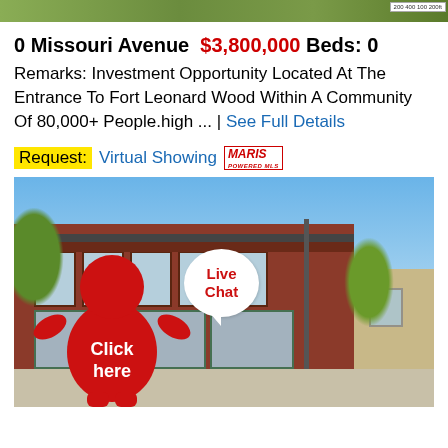[Figure (photo): Aerial or satellite image of land, partially visible at top of page with a map scale badge in top right corner]
0 Missouri Avenue  $3,800,000  Beds: 0
Remarks: Investment Opportunity Located At The Entrance To Fort Leonard Wood Within A Community Of 80,000+ People.high ... | See Full Details
Request: Virtual Showing  MARIS
[Figure (photo): Two-story red brick commercial building with large storefront windows on ground floor, blue sky and trees visible. Overlaid with a red cartoon figure character with speech bubble saying 'Live Chat' and text 'Click here'.]